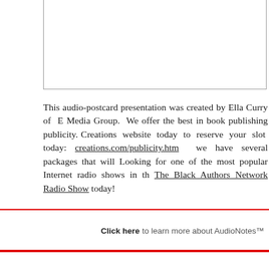This audio-postcard presentation was created by Ella Curry of E Media Group. We offer the best in book publishing publicity. Visit Creations website today to reserve your slot today: creations.com/publicity.htm we have several packages that will fit. Looking for one of the most popular Internet radio shows in the area, The Black Authors Network Radio Show today!
Click here to learn more about AudioNotes™